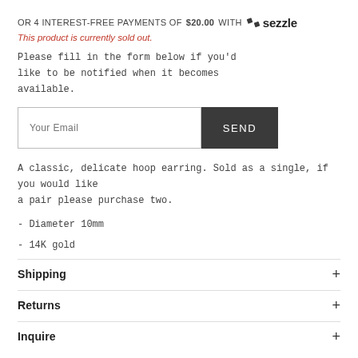OR 4 INTEREST-FREE PAYMENTS OF $20.00 WITH sezzle
This product is currently sold out.
Please fill in the form below if you'd like to be notified when it becomes available.
Your Email / SEND
A classic, delicate hoop earring. Sold as a single, if you would like a pair please purchase two.
- Diameter 10mm
- 14K gold
Shipping
Returns
Inquire